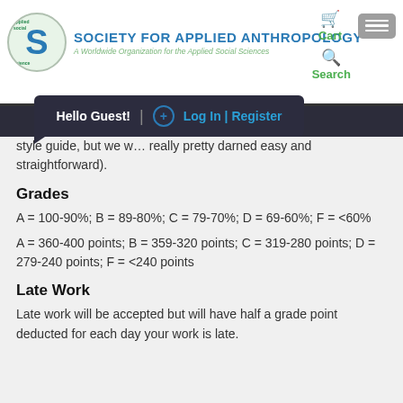[Figure (logo): Society for Applied Anthropology logo with circular emblem and organization name]
style guide, but we w... really pretty darned easy and straightforward).
Grades
A = 100-90%; B = 89-80%; C = 79-70%; D = 69-60%; F = <60%
A = 360-400 points; B = 359-320 points; C = 319-280 points; D = 279-240 points; F = <240 points
Late Work
Late work will be accepted but will have half a grade point deducted for each day your work is late.